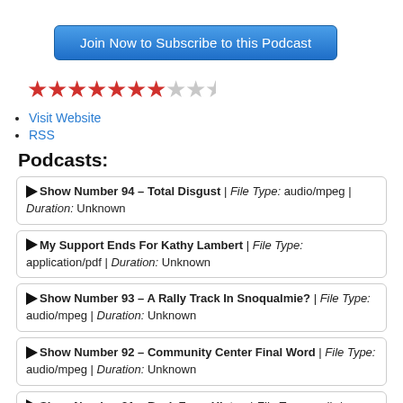Join Now to Subscribe to this Podcast
[Figure (other): Star rating: 7 out of 10 red stars filled, 3 empty/grey stars]
Visit Website
RSS
Podcasts:
▶ Show Number 94 – Total Disgust | File Type: audio/mpeg | Duration: Unknown
▶ My Support Ends For Kathy Lambert | File Type: application/pdf | Duration: Unknown
▶ Show Number 93 – A Rally Track In Snoqualmie? | File Type: audio/mpeg | Duration: Unknown
▶ Show Number 92 – Community Center Final Word | File Type: audio/mpeg | Duration: Unknown
▶ Show Number 91 – Back From Hiatus | File Type: audio/mpeg | Duration: Unknown